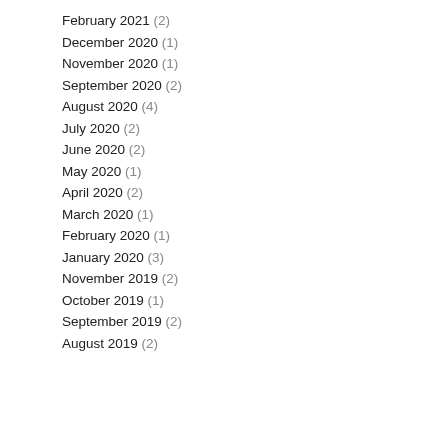February 2021 (2)
December 2020 (1)
November 2020 (1)
September 2020 (2)
August 2020 (4)
July 2020 (2)
June 2020 (2)
May 2020 (1)
April 2020 (2)
March 2020 (1)
February 2020 (1)
January 2020 (3)
November 2019 (2)
October 2019 (1)
September 2019 (2)
August 2019 (2)